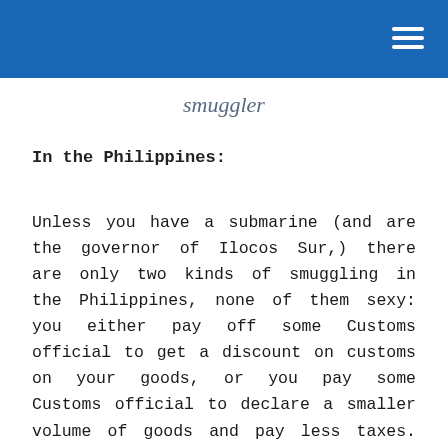smuggler
In the Philippines:
Unless you have a submarine (and are the governor of Ilocos Sur,) there are only two kinds of smuggling in the Philippines, none of them sexy: you either pay off some Customs official to get a discount on customs on your goods, or you pay some Customs official to declare a smaller volume of goods and pay less taxes. Both include bribes and none feature sneaking across Dead Man's Shoal guided only by the light of the moon